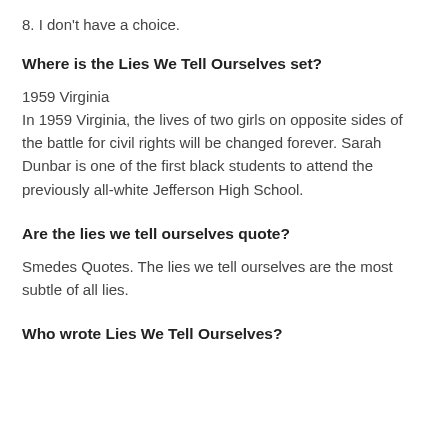8. I don't have a choice.
Where is the Lies We Tell Ourselves set?
1959 Virginia
In 1959 Virginia, the lives of two girls on opposite sides of the battle for civil rights will be changed forever. Sarah Dunbar is one of the first black students to attend the previously all-white Jefferson High School.
Are the lies we tell ourselves quote?
Smedes Quotes. The lies we tell ourselves are the most subtle of all lies.
Who wrote Lies We Tell Ourselves?